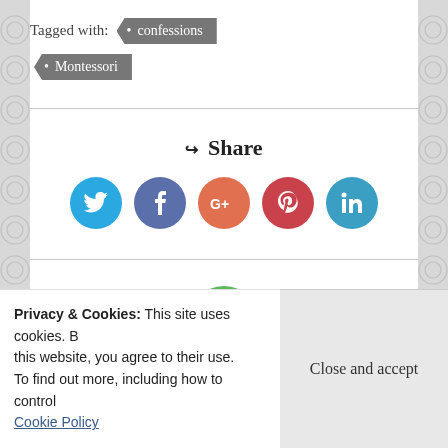Tagged with: • confessions • Montessori
↪ Share
[Figure (infographic): Social share buttons: Twitter (blue circle), Facebook (purple circle), Google+ (orange circle), Pinterest (red circle), LinkedIn (teal circle)]
[Figure (photo): Partial avatar/profile photo circle at bottom]
Privacy & Cookies: This site uses cookies. By continuing to use this website, you agree to their use. To find out more, including how to control cookies, see here: Cookie Policy
Close and accept